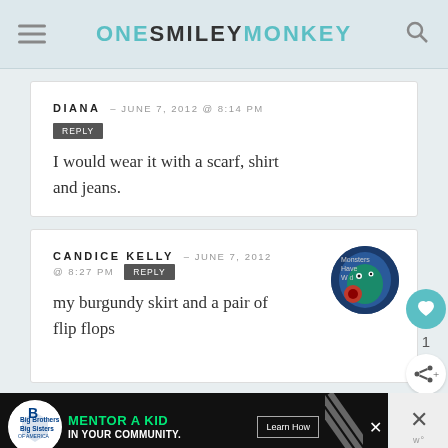ONE SMILEY MONKEY
DIANA – JUNE 7, 2012 @ 8:14 PM
REPLY
I would wear it with a scarf, shirt and jeans.
CANDICE KELLY – JUNE 7, 2012 @ 8:27 PM
REPLY
my burgundy skirt and a pair of flip flops
[Figure (other): Advertisement banner: Big Brothers Big Sisters – MENTOR A KID IN YOUR COMMUNITY. Learn How.]